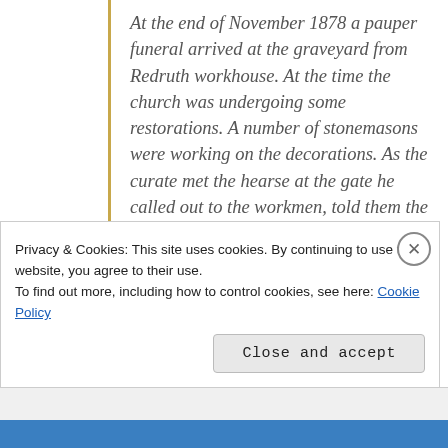At the end of November 1878 a pauper funeral arrived at the graveyard from Redruth workhouse. At the time the church was undergoing some restorations. A number of stonemasons were working on the decorations. As the curate met the hearse at the gate he called out to the workmen, told them the corpse he was going to bury was that of the man who had made the Medallion and said that if they stopped work and bore his coffin to the grave, they would be paying just tribute to one who had been a distinguished master of their craft. They dropped tools and took up the coffin. So was Neville Northey Burnard buried in an unnamed
Privacy & Cookies: This site uses cookies. By continuing to use this website, you agree to their use.
To find out more, including how to control cookies, see here: Cookie Policy